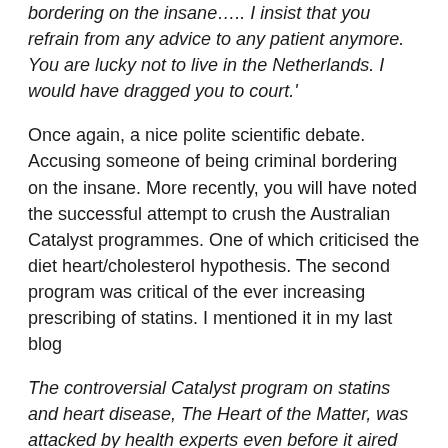bordering on the insane….. I insist that you refrain from any advice to any patient anymore. You are lucky not to live in the Netherlands. I would have dragged you to court.'
Once again, a nice polite scientific debate. Accusing someone of being criminal bordering on the insane. More recently, you will have noted the successful attempt to crush the Australian Catalyst programmes. One of which criticised the diet heart/cholesterol hypothesis. The second program was critical of the ever increasing prescribing of statins. I mentioned it in my last blog
The controversial Catalyst program on statins and heart disease, The Heart of the Matter, was attacked by health experts even before it aired last year.
The presenter of ABC radio's Health Report, Norman